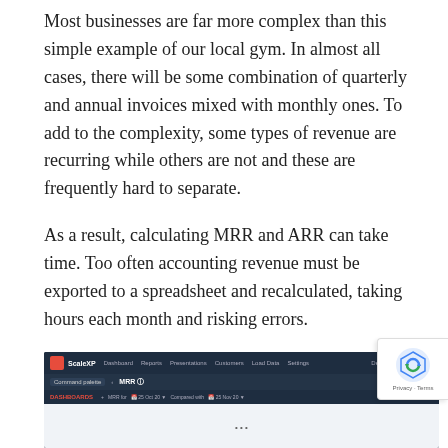Most businesses are far more complex than this simple example of our local gym. In almost all cases, there will be some combination of quarterly and annual invoices mixed with monthly ones. To add to the complexity, some types of revenue are recurring while others are not and these are frequently hard to separate.
As a result, calculating MRR and ARR can take time. Too often accounting revenue must be exported to a spreadsheet and recalculated, taking hours each month and risking errors.
[Figure (screenshot): Screenshot of ScaleXP dashboard showing MRR report interface with navigation bar, command palette, MRR heading, dashboards section with date filters]